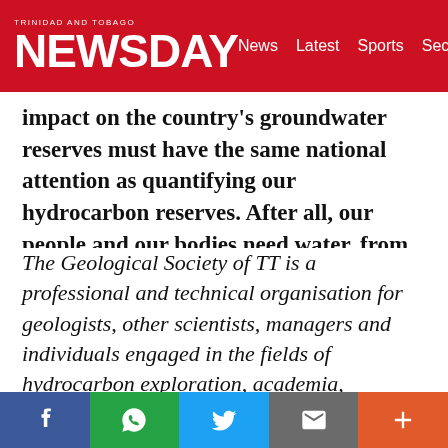TRINIDAD AND TOBAGO NEWSDAY — News  Latest  Sports  Sections
impact on the country's groundwater reserves must have the same national attention as quantifying our hydrocarbon reserves. After all, our people and our bodies need water, from the sky and from the ground.
The Geological Society of TT is a professional and technical organisation for geologists, other scientists, managers and individuals engaged in the fields of hydrocarbon exploration, academia, vulcanology, seismology, earthquake engineering, environmental geology, geological engineering and the exploration and development
Facebook  WhatsApp  Twitter  Email  More